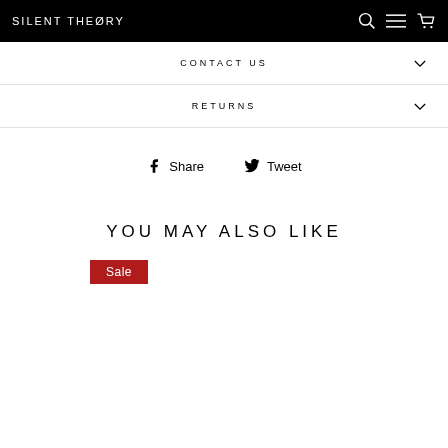SILENT THEØRY
CONTACT US
RETURNS
Share  Tweet
YOU MAY ALSO LIKE
Sale